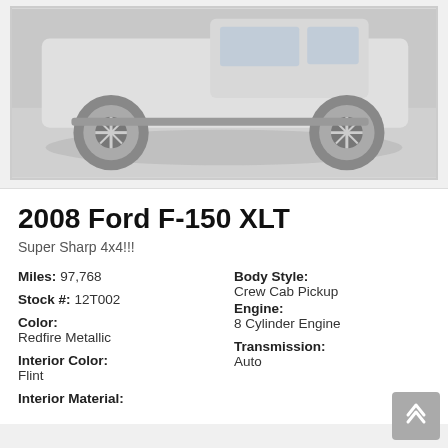[Figure (photo): Partial view of a silver/white Ford F-150 truck, showing the side and rear wheels on a light pavement surface. The image is cropped showing mostly the lower half and rear of the truck.]
2008 Ford F-150 XLT
Super Sharp 4x4!!!
| Attribute | Value |
| --- | --- |
| Miles: | 97,768 |
| Stock #: | 12T002 |
| Color: | Redfire Metallic |
| Interior Color: | Flint |
| Interior Material: |  |
| Body Style: | Crew Cab Pickup |
| Engine: | 8 Cylinder Engine |
| Transmission: | Auto |